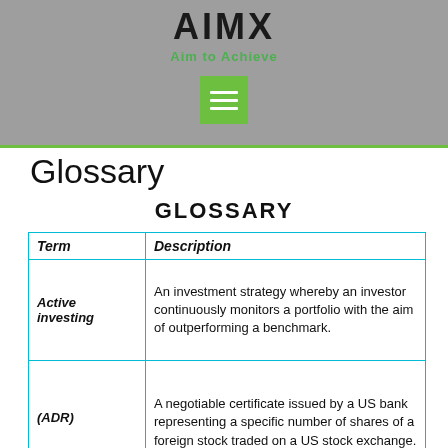AIMX
Aim to Achieve
Glossary
GLOSSARY
| Term | Description |
| --- | --- |
| Active investing | An investment strategy whereby an investor continuously monitors a portfolio with the aim of outperforming a benchmark. |
| (ADR) | A negotiable certificate issued by a US bank representing a specific number of shares of a foreign stock traded on a US stock exchange. ADRs |